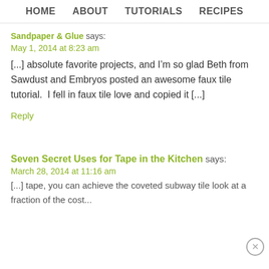HOME   ABOUT   TUTORIALS   RECIPES
Sandpaper & Glue says:
May 1, 2014 at 8:23 am
[...] absolute favorite projects, and I'm so glad Beth from Sawdust and Embryos posted an awesome faux tile tutorial.  I fell in faux tile love and copied it [...]
Reply
Seven Secret Uses for Tape in the Kitchen says:
March 28, 2014 at 11:16 am
[...] tape, you can achieve the coveted subway tile look at a fraction of the cost...